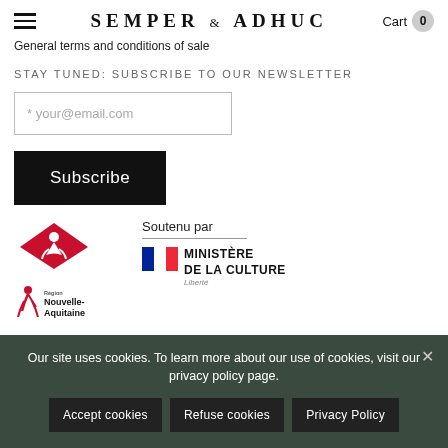SEMPER & ADHUC — Cart 0
General terms and conditions of sale
STAY TUNED: SUBSCRIBE TO OUR NEWSLETTER
* your@email.com
Subscribe
Soutenu par
[Figure (logo): PMA logo — red diamond shape with cyclist figure]
[Figure (logo): Région Nouvelle-Aquitaine logo]
[Figure (logo): French flag tricolor small icon]
MINISTÈRE
DE LA CULTURE
Liberté
Our site uses cookies. To learn more about our use of cookies, visit our privacy policy page.
Accept cookies   Refuse cookies   Privacy Policy